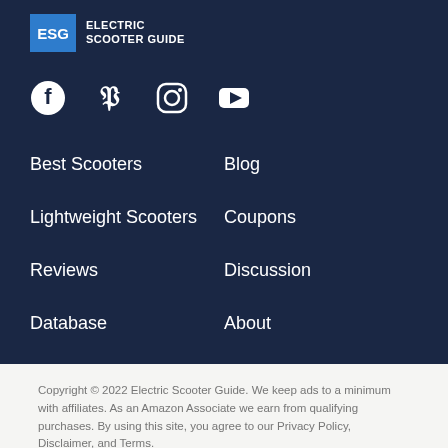[Figure (logo): Electric Scooter Guide logo with blue ESG box and white text]
[Figure (infographic): Social media icons: Facebook, Pinterest, Instagram, YouTube]
Best Scooters
Blog
Lightweight Scooters
Coupons
Reviews
Discussion
Database
About
Copyright © 2022 Electric Scooter Guide. We keep ads to a minimum with affiliates. As an Amazon Associate we earn from qualifying purchases. By using this site, you agree to our Privacy Policy, Disclaimer, and Terms.